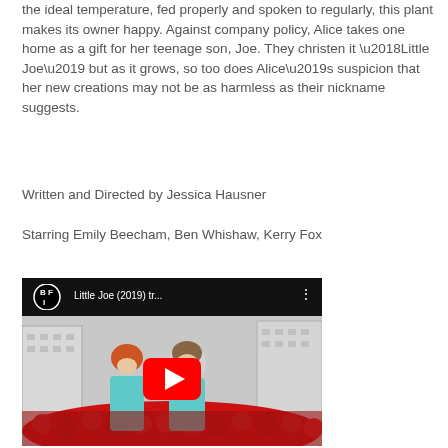the ideal temperature, fed properly and spoken to regularly, this plant makes its owner happy. Against company policy, Alice takes one home as a gift for her teenage son, Joe. They christen it ‘Little Joe’ but as it grows, so too does Alice’s suspicion that her new creations may not be as harmless as their nickname suggests.
Written and Directed by Jessica Hausner
Starring Emily Beecham, Ben Whishaw, Kerry Fox
[Figure (screenshot): YouTube video thumbnail for 'Little Joe (2019) tr...' from BFI channel. Shows two actors standing among red flowers — a woman with short red/orange hair and a man in teal lab coat. A red YouTube play button is overlaid in the center.]